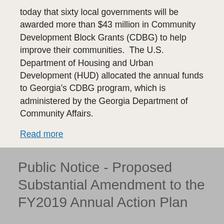today that sixty local governments will be awarded more than $43 million in Community Development Block Grants (CDBG) to help improve their communities.  The U.S. Department of Housing and Urban Development (HUD) allocated the annual funds to Georgia's CDBG program, which is administered by the Georgia Department of Community Affairs.
Read more
Public Notice - Proposed Substantial Amendment to the FY2019 Annual Action Plan
Notice is hereby given by the Georgia Department of Community Affairs of a proposed Substantial